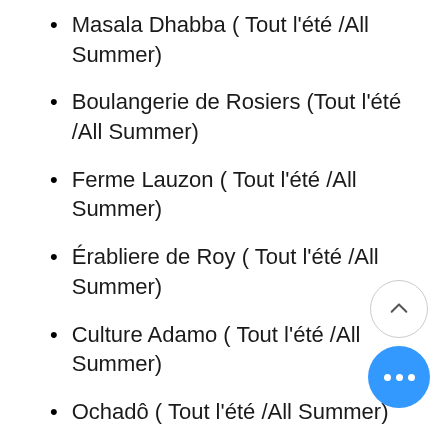Masala Dhabba ( Tout l'été /All Summer)
Boulangerie de Rosiers  (Tout l'été /All Summer)
Ferme Lauzon ( Tout l'été /All Summer)
Érabliere de Roy ( Tout l'été /All Summer)
Culture Adamo ( Tout l'été /All Summer)
Ochadô ( Tout l'été /All Summer)
Aux Grains des Saveurs (Tout l'été /All Summer)
Amanago Cacao (Tout l'été/All Summer)
Jardins Carya (Tout l'été/All